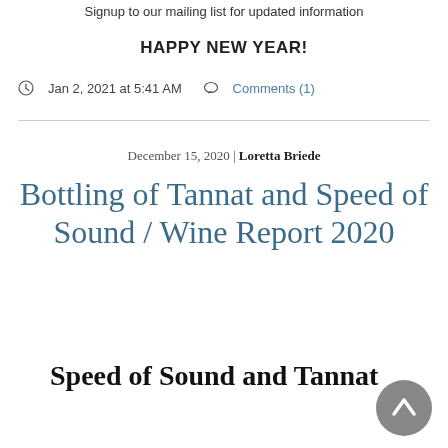Signup to our mailing list for updated information
HAPPY NEW YEAR!
Jan 2, 2021 at 5:41 AM   Comments (1)
December 15, 2020 | Loretta Briede
Bottling of Tannat and Speed of Sound / Wine Report 2020
Speed of Sound and Tannat